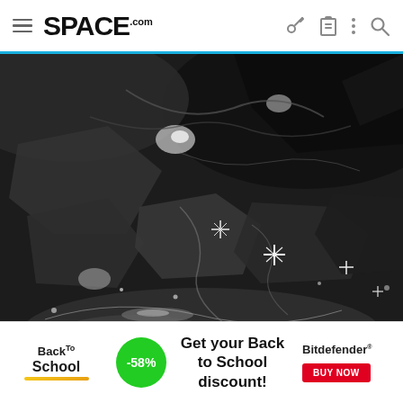SPACE.com navigation bar with hamburger menu, SPACE.com logo, and icons for key, clipboard, more, and search
[Figure (photo): Close-up black and white photograph of a rocky, icy surface with irregular boulder-like formations, cracks, and bright sparkle-like reflections suggesting ice or frost on a planetary or lunar surface. The image shows rugged terrain in high detail.]
[Figure (photo): Advertisement banner for Bitdefender Back to School discount showing -58% off, with Back to School logo, green discount circle, promotional text 'Get your Back to School discount!', Bitdefender logo and red BUY NOW button.]